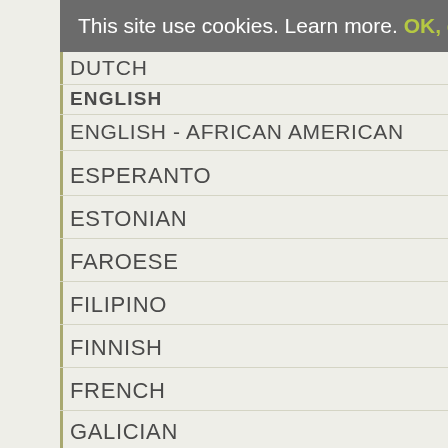This site use cookies. Learn more. OK, got it!
DUTCH
ENGLISH
ENGLISH - AFRICAN AMERICAN
ESPERANTO
ESTONIAN
FAROESE
FILIPINO
FINNISH
FRENCH
GALICIAN
GEORGIAN
GERMAN
GREEK
GREENLANDIC
HAWAIIAN
HEBREW
HUNGARIAN - MAGYAR
ICELANDIC